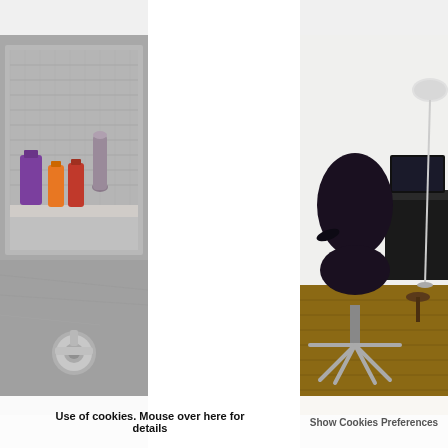[Figure (photo): Close-up of a modern bathroom niche with textured tiles, containing colorful bottles (purple, orange, red) and a purple/grey decorative vase, with chrome faucet hardware below]
[Figure (photo): Interior room with a dark purple/black modern swivel chair, wooden floor, white wall, floor lamp with white shade, and a black TV/monitor on a desk in the background]
Use of cookies. Mouse over here for details
Show Cookies Preferences